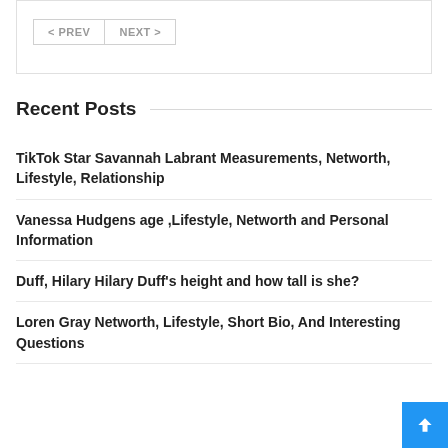< PREV   NEXT >
Recent Posts
TikTok Star Savannah Labrant Measurements, Networth, Lifestyle, Relationship
Vanessa Hudgens age ,Lifestyle, Networth and Personal Information
Duff, Hilary Hilary Duff's height and how tall is she?
Loren Gray Networth, Lifestyle, Short Bio, And Interesting Questions